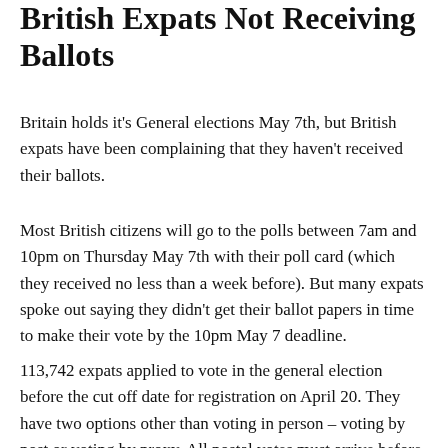British Expats Not Receiving Ballots
Britain holds it's General elections May 7th, but British expats have been complaining that they haven't received their ballots.
Most British citizens will go to the polls between 7am and 10pm on Thursday May 7th with their poll card (which they received no less than a week before). But many expats spoke out saying they didn't get their ballot papers in time to make their vote by the 10pm May 7 deadline.
113,742 expats applied to vote in the general election before the cut off date for registration on April 20. They have two options other than voting in person – voting by post or voting by proxy. All postal votes must arrive before 10pm on polling day in order to